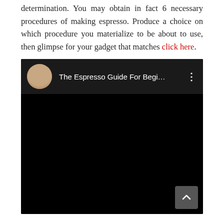determination. You may obtain in fact 6 necessary procedures of making espresso. Produce a choice on which procedure you materialize to be about to use, then glimpse for your gadget that matches click here.
[Figure (screenshot): Embedded YouTube video player showing 'The Espresso Guide For Begi...' with a circular avatar of a person on the left and a three-dot menu icon on the right. The video area is black.]